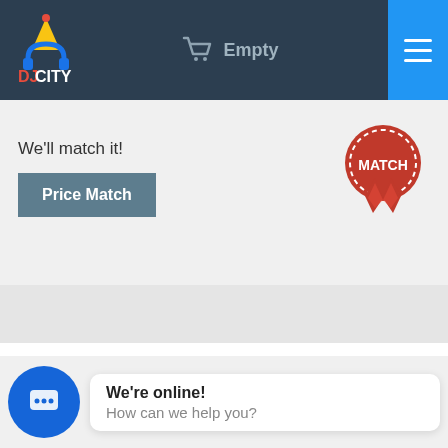[Figure (logo): DJ City logo with party hat and headphones icon, colorful letters]
Empty
We'll match it!
Price Match
[Figure (illustration): Red prize ribbon/medal with MATCH text]
Overview
Features
We're online!
How can we help you?